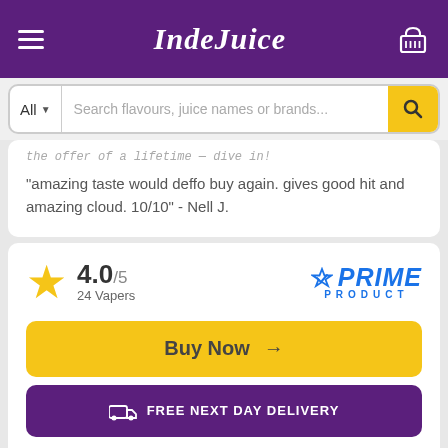IndeJuice
Search flavours, juice names or brands...
"amazing taste would deffo buy again. gives good hit and amazing cloud. 10/10" - Nell J.
4.0/5
24 Vapers
[Figure (logo): Prime Product badge with blue checkmark and italic PRIME text]
Buy Now →
FREE NEXT DAY DELIVERY
View All Reviews